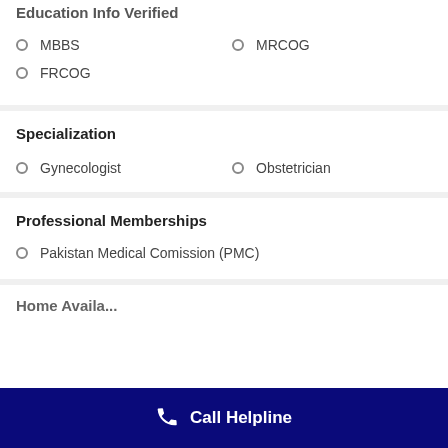Education Info Verified
MBBS
MRCOG
FRCOG
Specialization
Gynecologist
Obstetrician
Professional Memberships
Pakistan Medical Comission (PMC)
Call Helpline